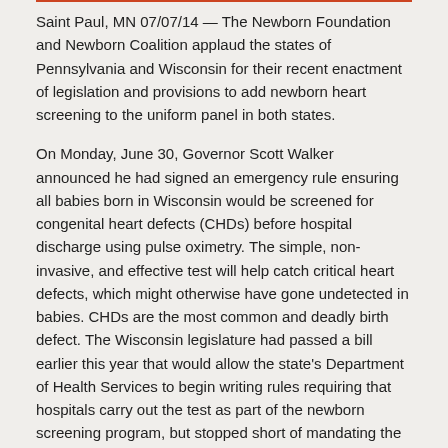Saint Paul, MN 07/07/14 — The Newborn Foundation and Newborn Coalition applaud the states of Pennsylvania and Wisconsin for their recent enactment of legislation and provisions to add newborn heart screening to the uniform panel in both states.
On Monday, June 30, Governor Scott Walker announced he had signed an emergency rule ensuring all babies born in Wisconsin would be screened for congenital heart defects (CHDs) before hospital discharge using pulse oximetry. The simple, non-invasive, and effective test will help catch critical heart defects, which might otherwise have gone undetected in babies. CHDs are the most common and deadly birth defect. The Wisconsin legislature had passed a bill earlier this year that would allow the state's Department of Health Services to begin writing rules requiring that hospitals carry out the test as part of the newborn screening program, but stopped short of mandating the screening for every newborn.
Also last week, the Pennsylvania General Assembly passed H.B. 1420, critical legislation that would require pulse oximetry testing for newborns, following a unanimous concurrence vote by the House. Now that the bill has passed both legislative chambers, it